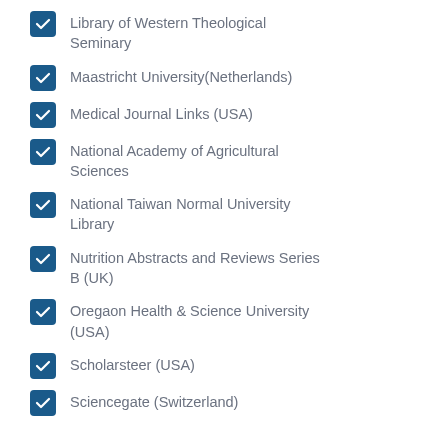Library of Western Theological Seminary
Maastricht University(Netherlands)
Medical Journal Links (USA)
National Academy of Agricultural Sciences
National Taiwan Normal University Library
Nutrition Abstracts and Reviews Series B (UK)
Oregaon Health & Science University (USA)
Scholarsteer (USA)
Sciencegate (Switzerland)